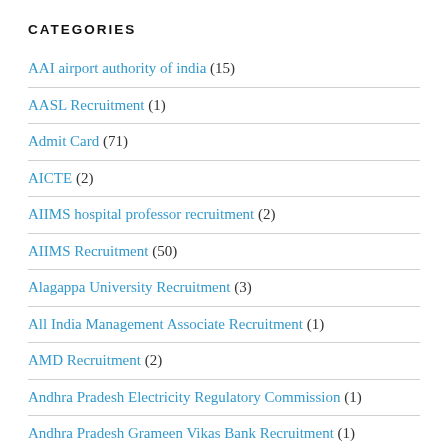CATEGORIES
AAI airport authority of india (15)
AASL Recruitment (1)
Admit Card (71)
AICTE (2)
AIIMS hospital professor recruitment (2)
AIIMS Recruitment (50)
Alagappa University Recruitment (3)
All India Management Associate Recruitment (1)
AMD Recruitment (2)
Andhra Pradesh Electricity Regulatory Commission (1)
Andhra Pradesh Grameen Vikas Bank Recruitment (1)